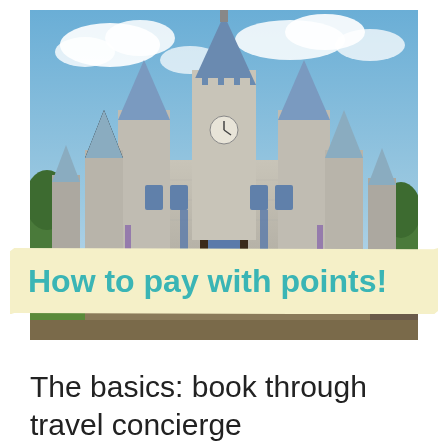[Figure (photo): Photograph of Cinderella's Castle at Disney World with blue spires and turrets against a partly cloudy sky, with crowds of visitors visible at the base.]
How to pay with points!
The basics: book through travel concierge